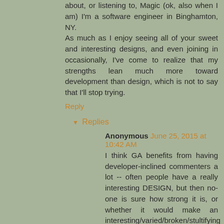about, or listening to, Magic (ok, also when I am) I'm a software engineer in Binghamton, NY.
As much as I enjoy seeing all of your sweet and interesting designs, and even joining in occasionally, I've come to realize that my strengths lean much more toward development than design, which is not to say that I'll stop trying.
Reply
▾ Replies
Anonymous June 25, 2015 at 10:42 AM
I think GA benefits from having developer-inclined commenters a lot -- often people have a really interesting DESIGN, but then no-one is sure how strong it is, or whether it would make an interesting/varied/broken/stultifying format...
Jay Treat June 25, 2015 at 11:23 AM
Absolutely.